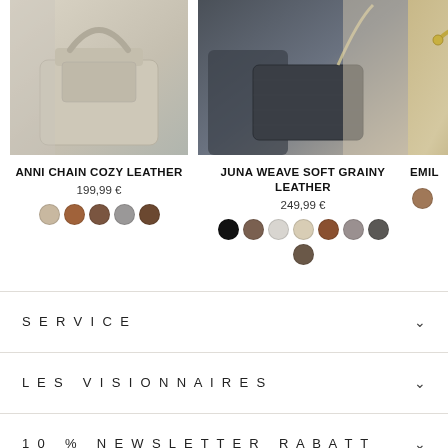[Figure (photo): Woman carrying a large beige/cream leather tote bag]
[Figure (photo): Woman holding a dark navy/grey structured leather bag with chain strap, seated in a chair]
[Figure (photo): Partial view of a bag with gold chain detail]
ANNI CHAIN COZY LEATHER
199,99 €
JUNA WEAVE SOFT GRAINY LEATHER
249,99 €
EMIL
SERVICE
LES VISIONNAIRES
10 % NEWSLETTER RABATT